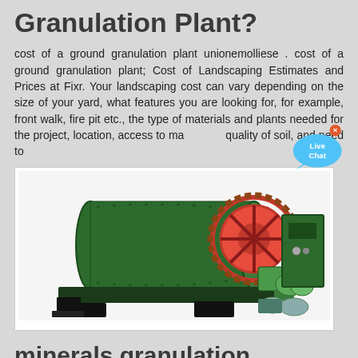Granulation Plant?
cost of a ground granulation plant unionemolliese . cost of a ground granulation plant; Cost of Landscaping Estimates and Prices at Fixr. Your landscaping cost can vary depending on the size of your yard, what features you are looking for, for example, front walk, fire pit etc., the type of materials and plants needed for the project, location, access to machinery, quality of soil, and need to
[Figure (photo): Industrial granulation ball mill machine — a large green cylindrical drum with gear wheel, mounted on a base, with motor and control cabinet.]
minerals granulation